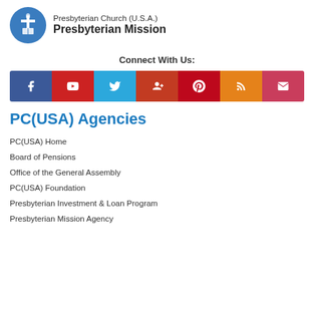[Figure (logo): Presbyterian Church (U.S.A.) Presbyterian Mission logo with blue circle icon and organization name text]
Connect With Us:
[Figure (infographic): Social media icon bar with Facebook (blue), YouTube (red), Twitter (light blue), Google+ (dark red), Pinterest (red), RSS (orange), Email (pink-red)]
PC(USA) Agencies
PC(USA) Home
Board of Pensions
Office of the General Assembly
PC(USA) Foundation
Presbyterian Investment & Loan Program
Presbyterian Mission Agency